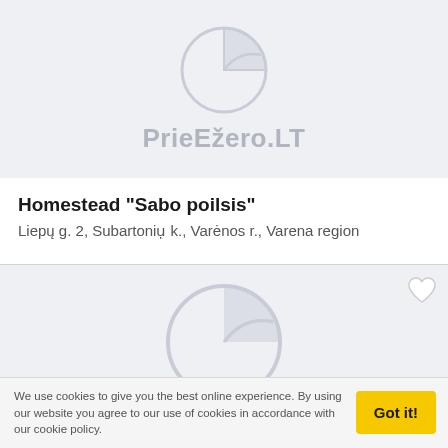[Figure (logo): PrieEžero.LT website logo with circular icon and text]
Homestead "Sabo poilsis"
Liepų g. 2, Subartoniụ k., Varėnos r., Varena region
[Figure (illustration): Second listing card with placeholder image showing the PrieEžero.LT logo icon]
We use cookies to give you the best online experience. By using our website you agree to our use of cookies in accordance with our cookie policy.